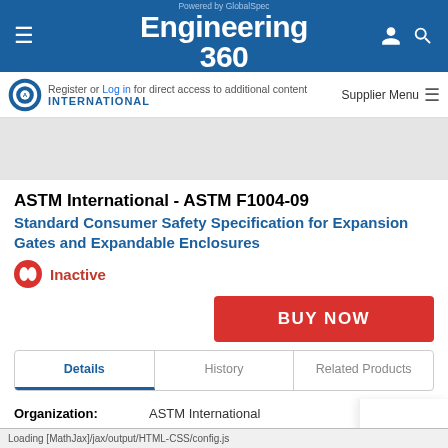Powered by GlobalSpec Engineering 360
Register or Log in for direct access to additional content
Supplier Menu
ASTM International - ASTM F1004-09
Standard Consumer Safety Specification for Expansion Gates and Expandable Enclosures
Inactive
BUY NOW
Details | History | Related Products
| Field | Value |
| --- | --- |
| Organization: | ASTM International |
| Publication Date: | 1 July 2009 |
Loading [MathJax]/jax/output/HTML-CSS/config.js